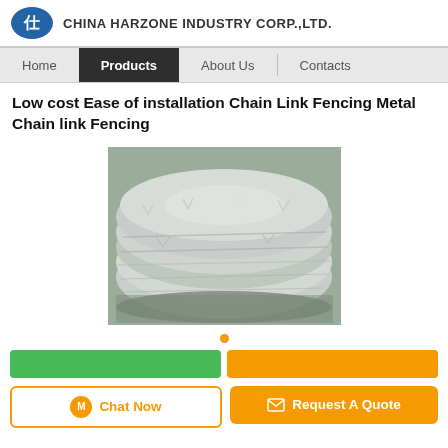CHINA HARZONE INDUSTRY CORP.,LTD.
Home | Products | About Us | Contacts
Low cost Ease of installation Chain Link Fencing Metal Chain link Fencing
[Figure (photo): A coiled roll of galvanized barbed wire / chain link fencing material, photographed on a surface.]
Chat Now   Request A Quote